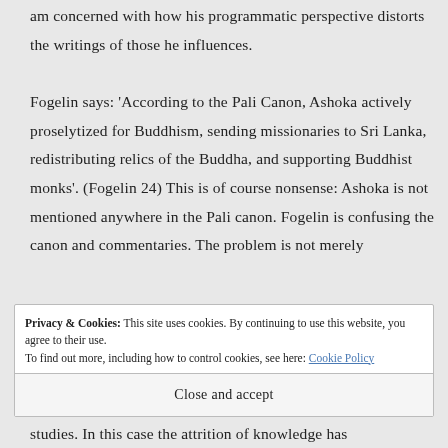am concerned with how his programmatic perspective distorts the writings of those he influences.

Fogelin says: 'According to the Pali Canon, Ashoka actively proselytized for Buddhism, sending missionaries to Sri Lanka, redistributing relics of the Buddha, and supporting Buddhist monks'. (Fogelin 24) This is of course nonsense: Ashoka is not mentioned anywhere in the Pali canon. Fogelin is confusing the canon and commentaries. The problem is not merely
Privacy & Cookies: This site uses cookies. By continuing to use this website, you agree to their use.
To find out more, including how to control cookies, see here: Cookie Policy
Close and accept
studies. In this case the attrition of knowledge has